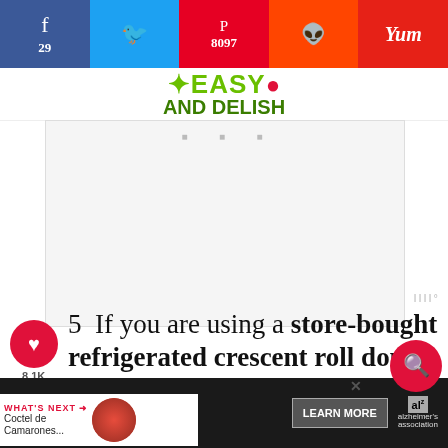[Figure (screenshot): Social sharing bar with Facebook (29), Twitter, Pinterest (8097), Reddit, and Yummly buttons]
[Figure (logo): Easy and Delish website logo in green]
[Figure (other): Advertisement placeholder area with dots]
5  If you are using a store-bought refrigerated crescent roll dough, try to roll out the dough on a floured  as a whole as you can and then mend the pieces together
[Figure (other): What's Next promo: Coctel de Camarones... with food image]
[Figure (other): Red circular search button]
[Figure (other): Bottom advertisement banner: It's time to talk about Alzheimer's. with Learn More button and Alzheimer's Association logo]